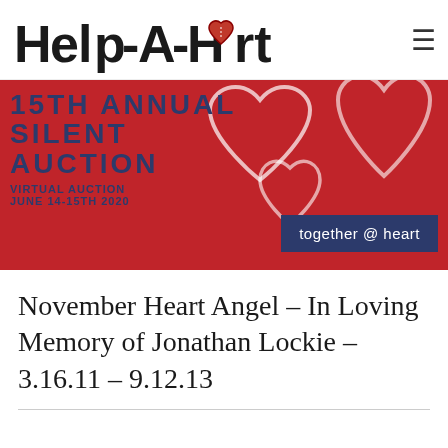[Figure (logo): Help-A-Heart logo with handwritten-style text and two stick figure children, plus a hamburger menu icon]
[Figure (infographic): 15th Annual Silent Auction banner on red background with white heart outlines. Text: '15TH ANNUAL SILENT AUCTION', 'VIRTUAL AUCTION JUNE 14-15TH 2020', and 'together @ heart' on navy background box.]
November Heart Angel – In Loving Memory of Jonathan Lockie – 3.16.11 – 9.12.13